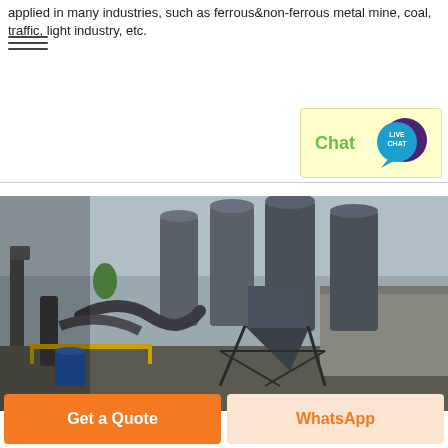applied in many industries, such as ferrous&non-ferrous metal mine, coal, traffic, light industry, etc.
[Figure (other): Live chat widget with yellow background, showing 'Chat' text in green and a teal circular badge with 'LIVE CHAT' text and a speech bubble icon]
[Figure (photo): Industrial facility photograph showing large cylindrical silos/hoppers and pipe systems with steel framework structures at a mining or processing plant]
Get a Quote
WhatsApp